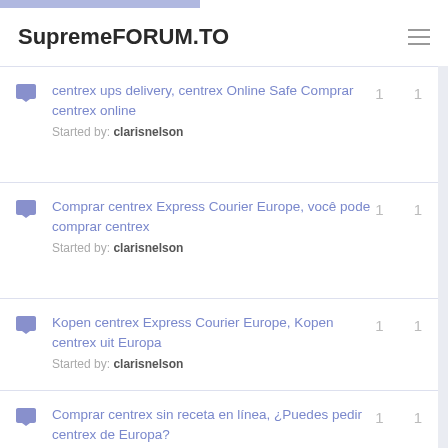SupremeFORUM.TO
centrex ups delivery, centrex Online Safe Comprar centrex online — Started by: clarisnelson — replies: 1, views: 1
Comprar centrex Express Courier Europe, você pode comprar centrex — Started by: clarisnelson — replies: 1, views: 1
Kopen centrex Express Courier Europe, Kopen centrex uit Europa — Started by: clarisnelson — replies: 1, views: 1
Comprar centrex sin receta en línea, ¿Puedes pedir centrex de Europa? — Started by: clarisnelson — replies: 1, views: 1